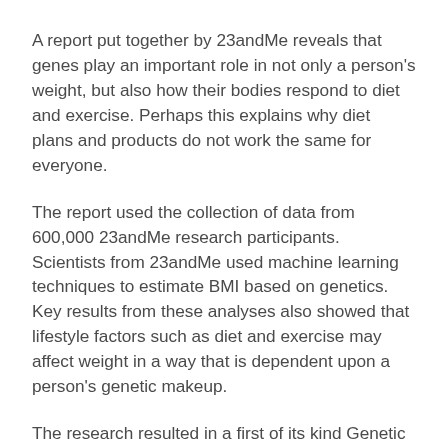A report put together by 23andMe reveals that genes play an important role in not only a person's weight, but also how their bodies respond to diet and exercise. Perhaps this explains why diet plans and products do not work the same for everyone.
The report used the collection of data from 600,000 23andMe research participants. Scientists from 23andMe used machine learning techniques to estimate BMI based on genetics. Key results from these analyses also showed that lifestyle factors such as diet and exercise may affect weight in a way that is dependent upon a person's genetic makeup.
The research resulted in a first of its kind Genetic Weight report that incorporates both genetics and lifestyle and calculates a person's genetic predisposition to weigh more or less on average. This report also provides insight into which lifestyle factors might make the biggest difference for a person's own weight. The report is based on over 300 variants found to be associated with weight in 23andMe's